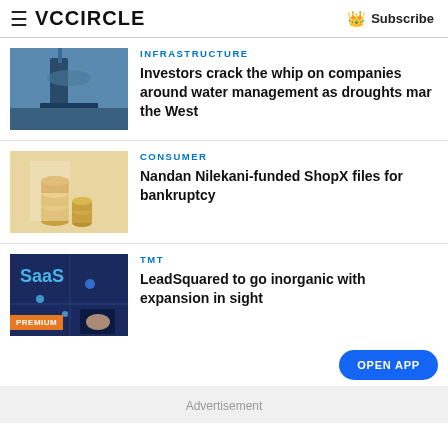VCCiRCLE | Subscribe
INFRASTRUCTURE
[Figure (photo): Infrastructure machinery photo]
Investors crack the whip on companies around water management as droughts mar the West
CONSUMER
[Figure (photo): Coins stacked on a table]
Nandan Nilekani-funded ShopX files for bankruptcy
TMT
[Figure (photo): SaaS technology illustration with PREMIUM badge]
LeadSquared to go inorganic with expansion in sight
OPEN APP
Advertisement